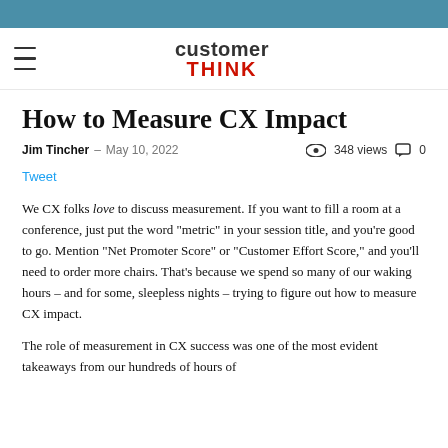customer THINK (logo)
How to Measure CX Impact
Jim Tincher – May 10, 2022   348 views   0
Tweet
We CX folks love to discuss measurement. If you want to fill a room at a conference, just put the word "metric" in your session title, and you're good to go. Mention "Net Promoter Score" or "Customer Effort Score," and you'll need to order more chairs. That's because we spend so many of our waking hours – and for some, sleepless nights – trying to figure out how to measure CX impact.
The role of measurement in CX success was one of the most evident takeaways from our hundreds of hours of